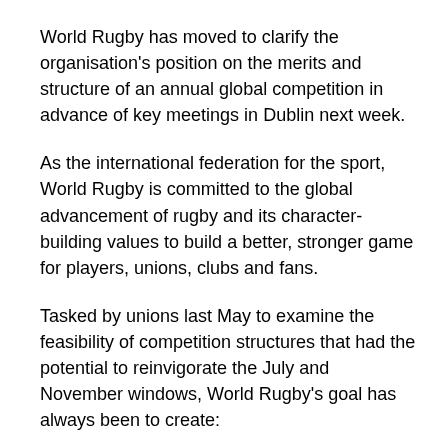World Rugby has moved to clarify the organisation's position on the merits and structure of an annual global competition in advance of key meetings in Dublin next week.
As the international federation for the sport, World Rugby is committed to the global advancement of rugby and its character-building values to build a better, stronger game for players, unions, clubs and fans.
Tasked by unions last May to examine the feasibility of competition structures that had the potential to reinvigorate the July and November windows, World Rugby's goal has always been to create:
the best-possible environment and opportunities for players
a first-ever pathway for emerging unions to compete at